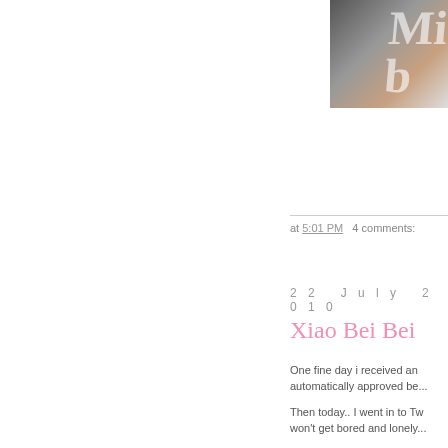[Figure (photo): Partial photo of a person with dark hair, cropped on right side of page]
at 5:01 PM   4 comments:
22 July 2010
Xiao Bei Bei
One fine day i received an automatically approved be...
Then today.. I went in to Tw won't get bored and lonely...
So i went back into Twitter...
This is what i get..